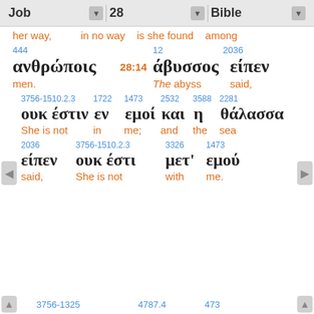Job   28   Bible
her way,   in no way   is she found   among
444   12   2036
ανθρώποις  28:14  άβυσσος  είπεν
men.      The abyss   said,
3756-1510.2.3   1722   1473   2532   3588   2281
ουκ έστιν  εν  εμοί  και  η  θάλασσα
She is not   in   me;   and   the   sea
2036   3756-1510.2.3   3326   1473
είπεν  ουκ έστι  μετ'  εμού
said,   She is not   with   me.
3756-1325   4787.4   473